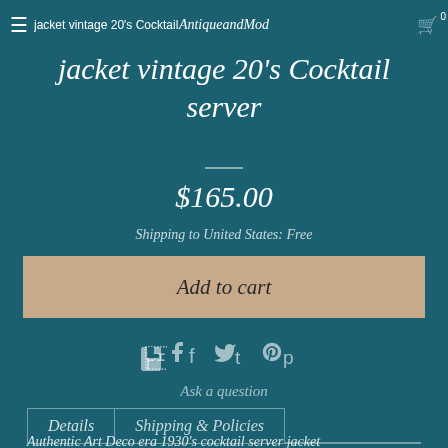jacket vintage 20's Cocktail server — AntiqueandMod — 0
jacket vintage 20's Cocktail server
$165.00
Shipping to United States: Free
Add to cart
Ask a question
Details    Shipping & Policies
Authentic Art Deco era 1930's cocktail server jacket